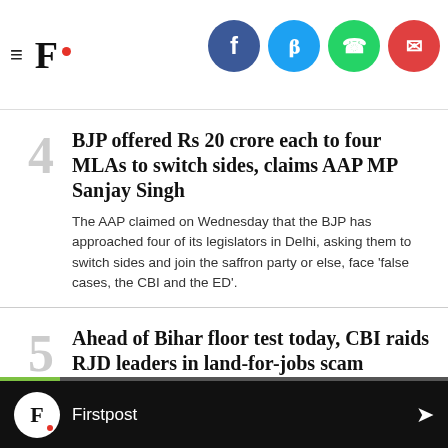F. Firstpost — with social share icons (Facebook, Twitter, WhatsApp, Email)
BJP offered Rs 20 crore each to four MLAs to switch sides, claims AAP MP Sanjay Singh
The AAP claimed on Wednesday that the BJP has approached four of its legislators in Delhi, asking them to switch sides and join the saffron party or else, face ‘false cases, the CBI and the ED’.
Ahead of Bihar floor test today, CBI raids RJD leaders in land-for-jobs scam
The raids were conducted at the properties linked to RJD MLC Sunil Singh and three MPs Ashfaque Karim, Faiyaz Ahmed and Subodh Roy.
F. Firstpost